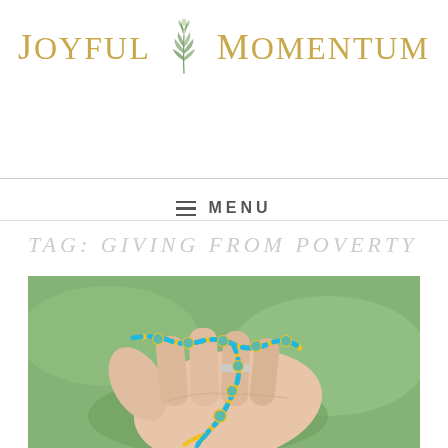[Figure (logo): Joyful Momentum blog logo with decorative plant/feather illustration between the two words, text in golden/olive color]
≡ MENU
TAG: GIVING FROM POVERTY
[Figure (photo): A hand holding blue and yellow knotted rope/cord bracelet or prayer beads, photographed outdoors with green grass in background]